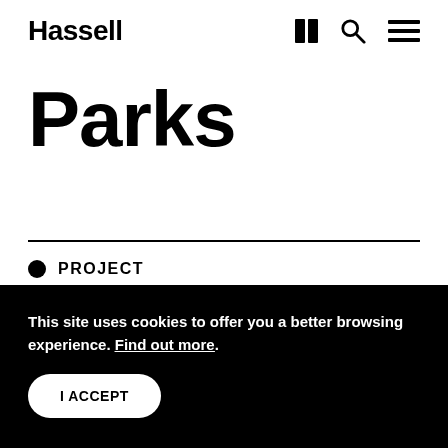Hassell
Parks
PROJECT
This site uses cookies to offer you a better browsing experience. Find out more.
I ACCEPT